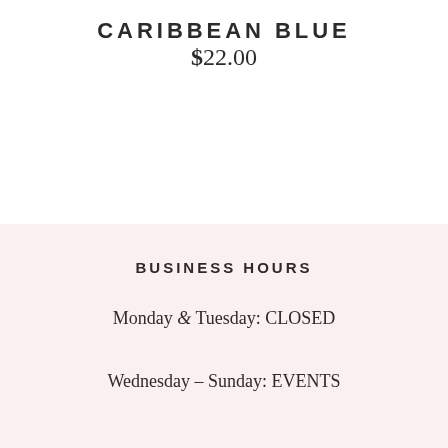CARIBBEAN BLUE
$22.00
BUSINESS HOURS
Monday & Tuesday: CLOSED
Wednesday – Sunday: EVENTS